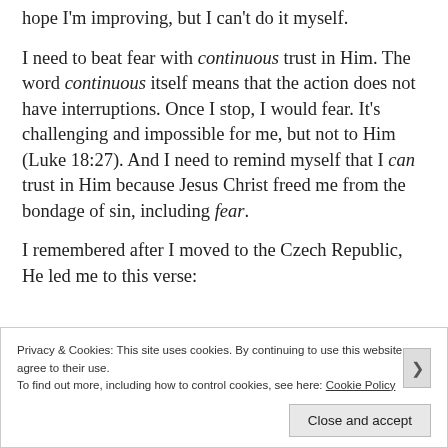hope I'm improving, but I can't do it myself.
I need to beat fear with continuous trust in Him. The word continuous itself means that the action does not have interruptions. Once I stop, I would fear. It's challenging and impossible for me, but not to Him (Luke 18:27). And I need to remind myself that I can trust in Him because Jesus Christ freed me from the bondage of sin, including fear.
I remembered after I moved to the Czech Republic, He led me to this verse:
Privacy & Cookies: This site uses cookies. By continuing to use this website, you agree to their use. To find out more, including how to control cookies, see here: Cookie Policy